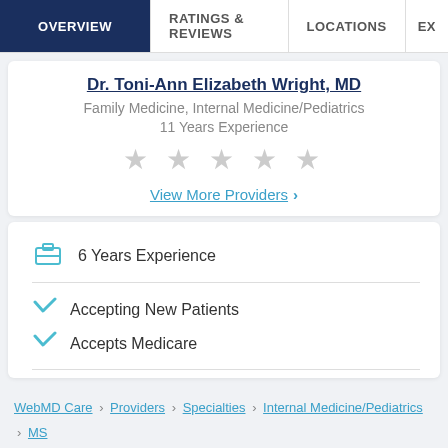OVERVIEW | RATINGS & REVIEWS | LOCATIONS | EX
Dr. Toni-Ann Elizabeth Wright, MD
Family Medicine, Internal Medicine/Pediatrics
11 Years Experience
★ ★ ★ ★ ★ (empty stars)
View More Providers >
6 Years Experience
Accepting New Patients
Accepts Medicare
WebMD Care > Providers > Specialties > Internal Medicine/Pediatrics > MS > Southaven > Dr. Grace Elizabeth Champlin, MD